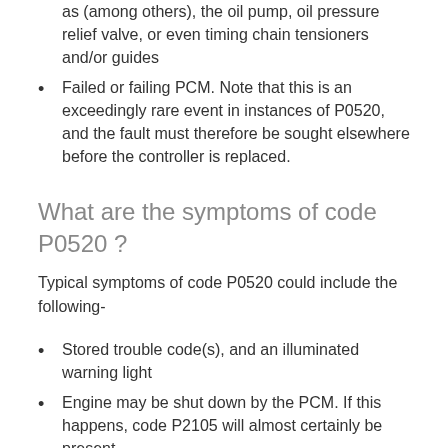as (among others), the oil pump, oil pressure relief valve, or even timing chain tensioners and/or guides
Failed or failing PCM. Note that this is an exceedingly rare event in instances of P0520, and the fault must therefore be sought elsewhere before the controller is replaced.
What are the symptoms of code P0520 ?
Typical symptoms of code P0520 could include the following-
Stored trouble code(s), and an illuminated warning light
Engine may be shut down by the PCM. If this happens, code P2105 will almost certainly be present.
Depending on the application and the nature of the problem, there may be various mechanical noises present when the engine is running. Noises could